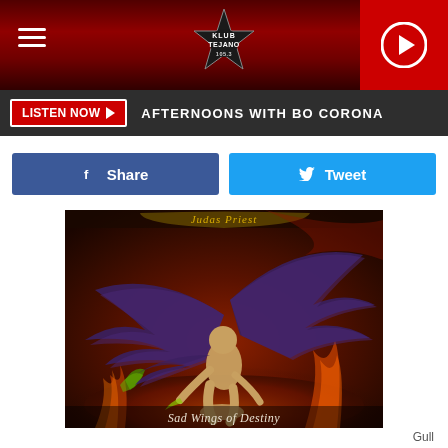KLUB TEJANO 105.3 - radio station header with logo and play button
LISTEN NOW  AFTERNOONS WITH BO CORONA
Share  Tweet
[Figure (illustration): Judas Priest album cover art for 'Sad Wings of Destiny' showing a winged fallen angel figure kneeling amid flames with large dark purple wings spread wide, against a hellish fiery background. Text at bottom reads 'Sad Wings of Destiny'.]
Gull